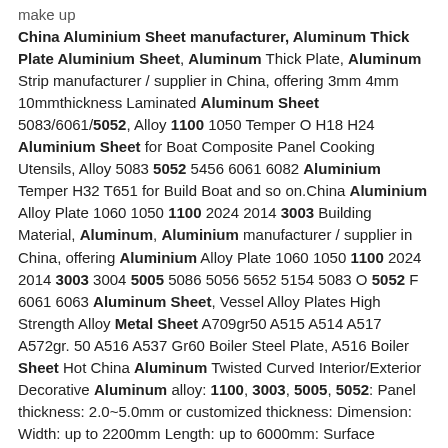make up
China Aluminium Sheet manufacturer, Aluminum Thick Plate Aluminium Sheet, Aluminum Thick Plate, Aluminum Strip manufacturer / supplier in China, offering 3mm 4mm 10mmthickness Laminated Aluminum Sheet 5083/6061/5052, Alloy 1100 1050 Temper O H18 H24 Aluminium Sheet for Boat Composite Panel Cooking Utensils, Alloy 5083 5052 5456 6061 6082 Aluminium Temper H32 T651 for Build Boat and so on.China Aluminium Alloy Plate 1060 1050 1100 2024 2014 3003 Building Material, Aluminum, Aluminium manufacturer / supplier in China, offering Aluminium Alloy Plate 1060 1050 1100 2024 2014 3003 3004 5005 5086 5056 5652 5154 5083 O 5052 F 6061 6063 Aluminum Sheet, Vessel Alloy Plates High Strength Alloy Metal Sheet A709gr50 A515 A514 A517 A572gr. 50 A516 A537 Gr60 Boiler Steel Plate, A516 Boiler Sheet Hot China Aluminum Twisted Curved Interior/Exterior Decorative Aluminum alloy: 1100, 3003, 5005, 5052: Panel thickness: 2.0~5.0mm or customized thickness: Dimension: Width: up to 2200mm Length: up to 6000mm: Surface treatment: PVDF 2/3/4 Layer coating (AkzoNobel/PPG) Powder coating (Powder/fluorocarbon powder) Wood grain (wood grain paper/thermal transfer printing/wood grain